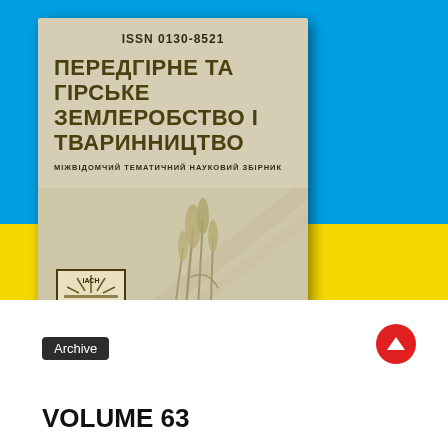[Figure (photo): Ukrainian flag background (blue top half, yellow bottom half) with a journal cover book overlaid. The journal cover is beige/tan colored showing: ISSN 0130-8521, Ukrainian title ПЕРЕДГІРНЕ ТА ГІРСЬКЕ ЗЕМЛЕРОБСТВО І ТВАРИННИЦТВО, subtitle МІЖВІДОМЧИЙ ТЕМАТИЧНИЙ НАУКОВИЙ ЗБІРНИК, wheat/grain illustration, institutional logo, and issue badge showing Випуск 63 / 2018.]
Archive
VOLUME 63